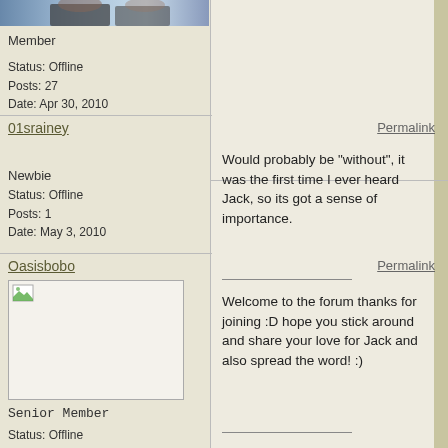[Figure (photo): Partial profile photo at top of left column]
Member
Status: Offline
Posts: 27
Date: Apr 30, 2010
01srainey
Newbie
Status: Offline
Posts: 1
Date: May 3, 2010
Permalink
Would probably be "without", it was the first time I ever heard Jack, so its got a sense of importance.
Oasisbobo
[Figure (photo): Avatar/profile image placeholder for Oasisbobo]
Senior Member
Status: Offline
Posts: 200
Permalink
Welcome to the forum thanks for joining :D hope you stick around and share your love for Jack and also spread the word! :)